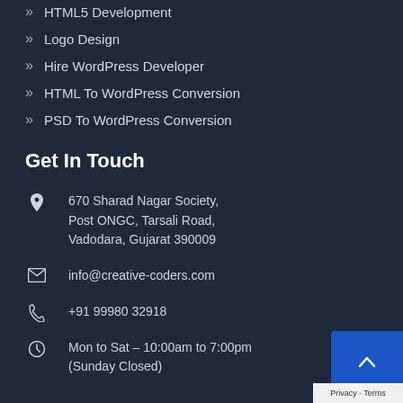HTML5 Development
Logo Design
Hire WordPress Developer
HTML To WordPress Conversion
PSD To WordPress Conversion
Get In Touch
670 Sharad Nagar Society, Post ONGC, Tarsali Road, Vadodara, Gujarat 390009
info@creative-coders.com
+91 99980 32918
Mon to Sat – 10:00am to 7:00pm (Sunday Closed)